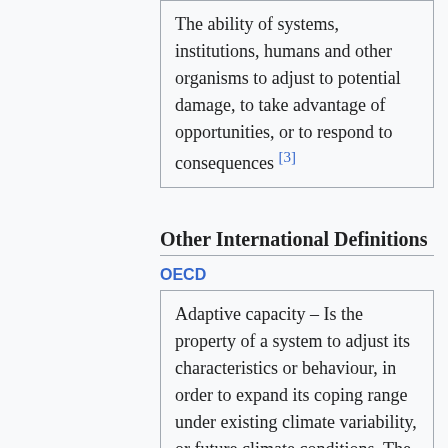The ability of systems, institutions, humans and other organisms to adjust to potential damage, to take advantage of opportunities, or to respond to consequences [3]
Other International Definitions
OECD
Adaptive capacity – Is the property of a system to adjust its characteristics or behaviour, in order to expand its coping range under existing climate variability, or future climate conditions. The